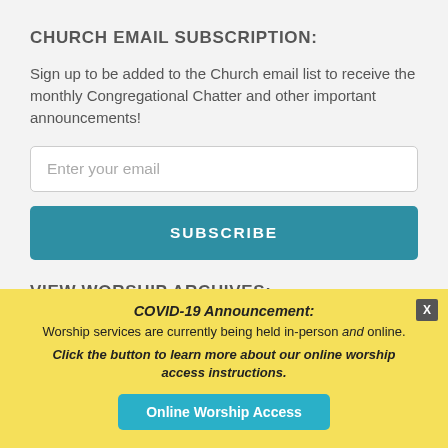CHURCH EMAIL SUBSCRIPTION:
Sign up to be added to the Church email list to receive the monthly Congregational Chatter and other important announcements!
[Figure (other): Email input field with placeholder text 'Enter your email']
SUBSCRIBE
VIEW WORSHIP ARCHIVES:
Sunday worships are being held live online and in-person. These services are also recorded for those who cannot join us at 10:00
COVID-19 Announcement: Worship services are currently being held in-person and online. Click the button to learn more about our online worship access instructions.
Online Worship Access